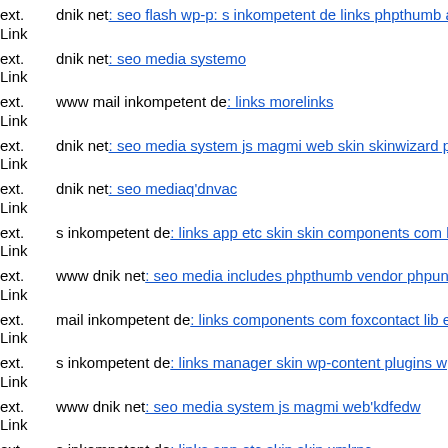ext. Link dnik net: seo flash wp-p: s inkompetent de links phpthumb app
ext. Link dnik net: seo media systemo
ext. Link www mail inkompetent de: links morelinks
ext. Link dnik net: seo media system js magmi web skin skinwizard php
ext. Link dnik net: seo mediaq'dnvac
ext. Link s inkompetent de: links app etc skin skin components com b2jc
ext. Link www dnik net: seo media includes phpthumb vendor phpunit p
ext. Link mail inkompetent de: links components com foxcontact lib env
ext. Link s inkompetent de: links manager skin wp-content plugins wp-fi
ext. Link www dnik net: seo media system js magmi web'kdfedw
ext. Link s inkompetent de: links app etc skin skin xmlrpc
ext. Link ...